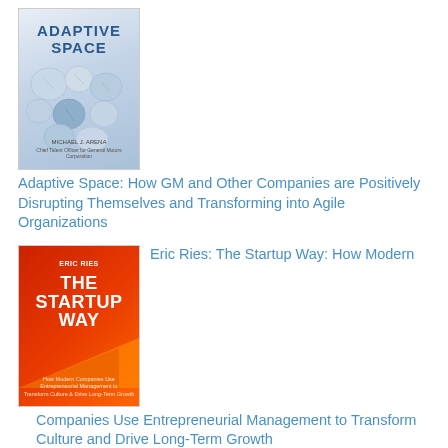[Figure (illustration): Book cover for 'Adaptive Space' by Michael Arena showing crumpled paper balls on a blue-grey background with title text]
Adaptive Space: How GM and Other Companies are Positively Disrupting Themselves and Transforming into Agile Organizations
[Figure (illustration): Book cover for 'The Startup Way' by Eric Ries - red/orange background with bold white title text]
Eric Ries: The Startup Way: How Modern Companies Use Entrepreneurial Management to Transform Culture and Drive Long-Term Growth